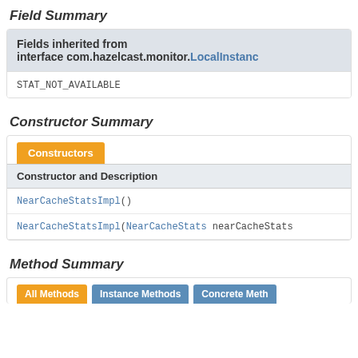Field Summary
| Fields inherited from interface com.hazelcast.monitor.LocalInstanc... |
| --- |
| STAT_NOT_AVAILABLE |
Constructor Summary
| Constructor and Description |
| --- |
| NearCacheStatsImpl() |
| NearCacheStatsImpl(NearCacheStats nearCacheStats |
Method Summary
| All Methods | Instance Methods | Concrete Meth... |
| --- | --- | --- |